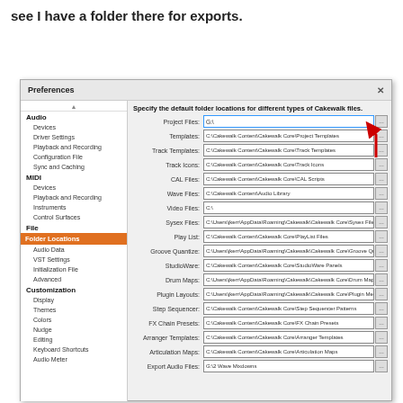see I have a folder there for exports.
[Figure (screenshot): Cakewalk Preferences dialog showing Folder Locations settings with fields for Project Files (G:\), Templates, Track Templates, Track Icons, CAL Files, Wave Files, Video Files, Sysex Files, Play List, Groove Quantize, StudioWare, Drum Maps, Plugin Layouts, Step Sequencer, FX Chain Presets, Arranger Templates, Articulation Maps, Export Audio Files (G:\2 Wave Mixdowns). Left panel shows navigation tree with Audio, MIDI, File (Folder Locations selected in orange), Customization sections. A red arrow points to the Project Files browse button.]